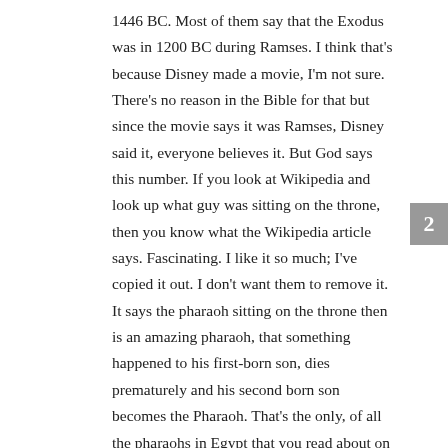1446 BC. Most of them say that the Exodus was in 1200 BC during Ramses. I think that's because Disney made a movie, I'm not sure. There's no reason in the Bible for that but since the movie says it was Ramses, Disney said it, everyone believes it. But God says this number. If you look at Wikipedia and look up what guy was sitting on the throne, then you know what the Wikipedia article says. Fascinating. I like it so much; I've copied it out. I don't want them to remove it. It says the pharaoh sitting on the throne then is an amazing pharaoh, that something happened to his first-born son, dies prematurely and his second born son becomes the Pharaoh. That's the only, of all the pharaohs in Egypt that you read about on Wikipedia, only that one does it say that about and its true. In the records of Egypt, this Pharaoh's son did not become Pharaoh, his younger son did, which was really amazing. That's all because we know what happened to his oldest son. He died in the night of the original Friday, the 13th, because we know that Passover's on the 14th of Nissan. So, the night before when the firstborns were killed was Friday, the 13th of Nissan. Which is